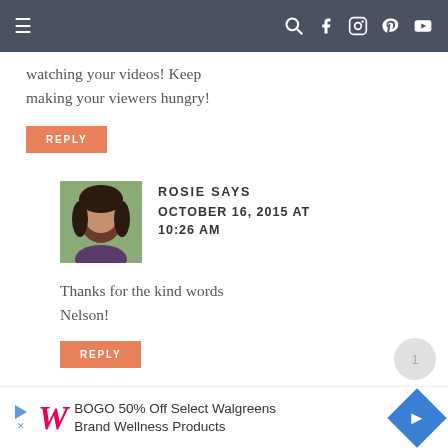Navigation bar with menu, search, facebook, instagram, pinterest, youtube icons
watching your videos! Keep making your viewers hungry!
REPLY
ROSIE SAYS
OCTOBER 16, 2015 AT 10:26 AM
Thanks for the kind words Nelson!
REPLY
BOGO 50% Off Select Walgreens Brand Wellness Products